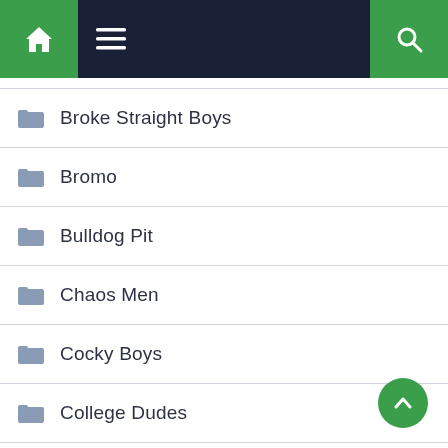Navigation bar with home, menu, and search icons
Broke Straight Boys
Bromo
Bulldog Pit
Chaos Men
Cocky Boys
College Dudes
Dick Dorm
Dominic Ford
Drill My Hole